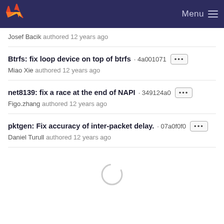GitLab — Menu
Josef Bacik authored 12 years ago
Btrfs: fix loop device on top of btrfs · 4a001071 ···
Miao Xie authored 12 years ago
net8139: fix a race at the end of NAPI · 349124a0 ···
Figo.zhang authored 12 years ago
pktgen: Fix accuracy of inter-packet delay. · 07a0f0f0 ···
Daniel Turull authored 12 years ago
[Figure (other): Loading spinner — circular arc indicating content is loading]